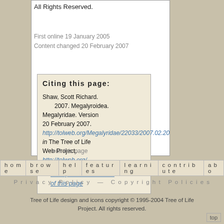All Rights Reserved.
First online 19 January 2005
Content changed 20 February 2007
Citing this page:
Shaw, Scott Richard. 2007. Megalyroidea. Megalyridae. Version 20 February 2007. http://tolweb.org/Megalyridae/22033/2007.02.20 in The Tree of Life Web Project, http://tolweb.org/
View previous versions of this page
edit this page
home  browse  help  features  learning  contribute  abo
Privacy Policy — Copyright Policies
Tree of Life design and icons copyright © 1995-2004 Tree of Life Project. All rights reserved.
top